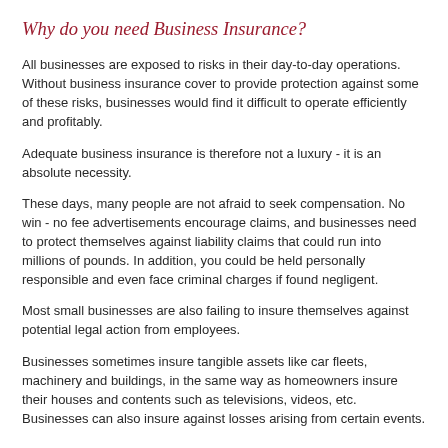Why do you need Business Insurance?
All businesses are exposed to risks in their day-to-day operations. Without business insurance cover to provide protection against some of these risks, businesses would find it difficult to operate efficiently and profitably.
Adequate business insurance is therefore not a luxury - it is an absolute necessity.
These days, many people are not afraid to seek compensation. No win - no fee advertisements encourage claims, and businesses need to protect themselves against liability claims that could run into millions of pounds. In addition, you could be held personally responsible and even face criminal charges if found negligent.
Most small businesses are also failing to insure themselves against potential legal action from employees.
Businesses sometimes insure tangible assets like car fleets, machinery and buildings, in the same way as homeowners insure their houses and contents such as televisions, videos, etc. Businesses can also insure against losses arising from certain events.